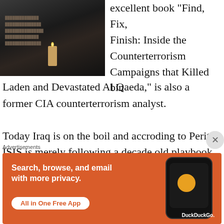[Figure (photo): Dark photo showing a person's hands near a lit candle on a table with books in the background]
excellent book "Find, Fix, Finish: Inside the Counterterrorism Campaigns that Killed bin Laden and Devastated Al Qaeda," is also a former CIA counterterrorism analyst.
Today Iraq is on the boil and accroding to Peritz ISIS is merely following a decade old playbook. In this interview with rediff.com, Aki Peritz says sadly, the government under Prime Minister Nuri al-Maliki decided to pursue a sectarian agenda, alienating the
Advertisements
[Figure (screenshot): DuckDuckGo advertisement: Search, browse, and email with more privacy. All in One Free App. Shows a phone with DuckDuckGo logo.]